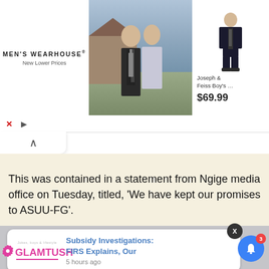[Figure (screenshot): Men's Wearhouse advertisement banner with couple in formal wear and boy's suit at $69.99]
This was contained in a statement from Ngige media office on Tuesday, titled, 'We have kept our promises to ASUU-FG'.
[Figure (screenshot): GLAMTUSH notification card: 'Subsidy Investigations: FIRS Explains, Our' posted 5 hours ago, with close X button and blue bell icon with badge 3]